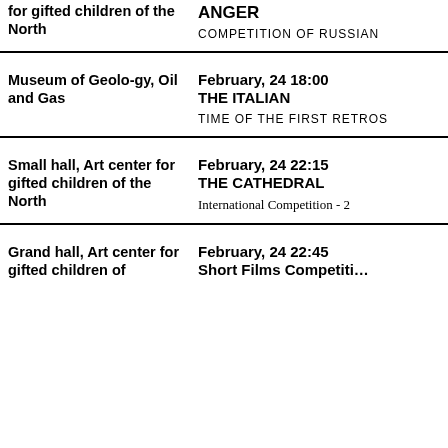| Location | Event |
| --- | --- |
| for gifted children of the North | ...y, ANGER
COMPETITION OF RUSSIAN |
| Museum of Geolo-gy, Oil and Gas | February, 24 18:00
THE ITALIAN
TIME OF THE FIRST RETROS |
| Small hall, Art center for gifted children of the North | February, 24 22:15
THE CATHEDRAL
International Competition - 2 |
| Grand hall, Art center for gifted children of | February, 24 22:45
Short Films Competiti... |